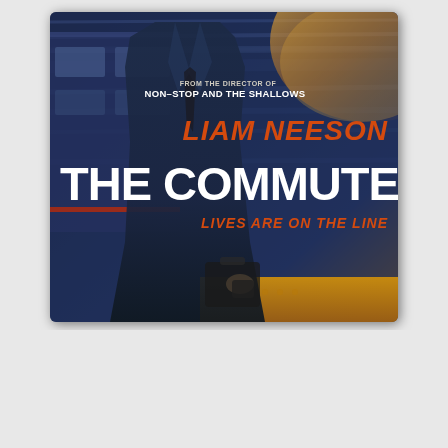[Figure (photo): Movie poster for 'The Commuter' starring Liam Neeson. A man in a dark suit stands on a subway platform with a blurred train behind him and warm light emanating from the right side. Text reads: FROM THE DIRECTOR OF NON-STOP AND THE SHALLOWS / LIAM NEESON / THE COMMUTER / LIVES ARE ON THE LINE]